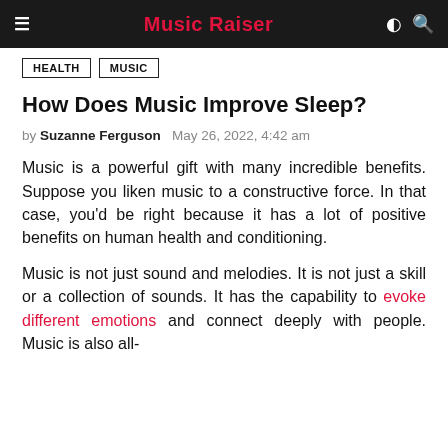Music Raiser
HEALTH
MUSIC
How Does Music Improve Sleep?
by Suzanne Ferguson  May 26, 2022, 4:42 am
Music is a powerful gift with many incredible benefits. Suppose you liken music to a constructive force. In that case, you'd be right because it has a lot of positive benefits on human health and conditioning.
Music is not just sound and melodies. It is not just a skill or a collection of sounds. It has the capability to evoke different emotions and connect deeply with people. Music is also all-